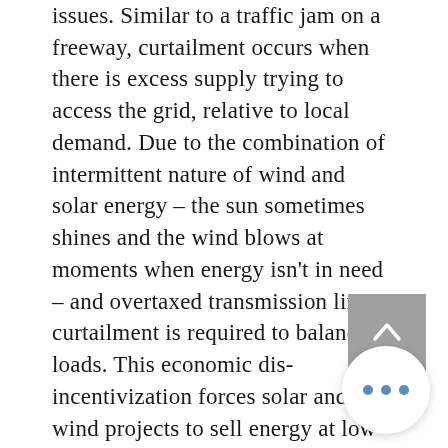issues. Similar to a traffic jam on a freeway, curtailment occurs when there is excess supply trying to access the grid, relative to local demand. Due to the combination of intermittent nature of wind and solar energy – the sun sometimes shines and the wind blows at moments when energy isn't in need – and overtaxed transmission lines, curtailment is required to balance loads. This economic dis-incentivization forces solar and wind projects to sell energy at low – and in some cases financially unsustainable – prices because of the lack of options or competition with other projects. Parts of China (especially those which were formerly littered with Bitcoin miners) have such a surplus of hydro and wind power that the curtailment rate regularly exceeds